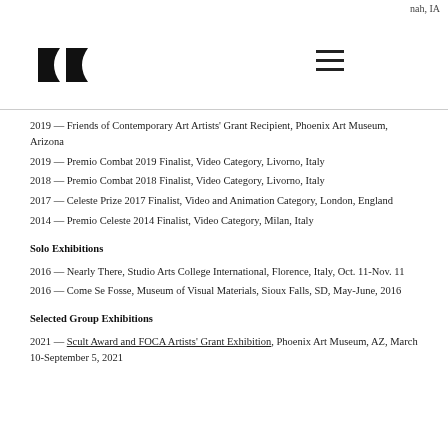nah, IA
[Figure (logo): Two overlapping quotation mark shapes forming a logo]
[Figure (other): Hamburger menu icon with three horizontal lines]
2019 — Friends of Contemporary Art Artists' Grant Recipient, Phoenix Art Museum, Arizona
2019 — Premio Combat 2019 Finalist, Video Category, Livorno, Italy
2018 — Premio Combat 2018 Finalist, Video Category, Livorno, Italy
2017 — Celeste Prize 2017 Finalist, Video and Animation Category, London, England
2014 — Premio Celeste 2014 Finalist, Video Category, Milan, Italy
Solo Exhibitions
2016 — Nearly There, Studio Arts College International, Florence, Italy, Oct. 11-Nov. 11
2016 — Come Se Fosse, Museum of Visual Materials, Sioux Falls, SD, May-June, 2016
Selected Group Exhibitions
2021 — Scult Award and FOCA Artists' Grant Exhibition, Phoenix Art Museum, AZ, March 10-September 5, 2021